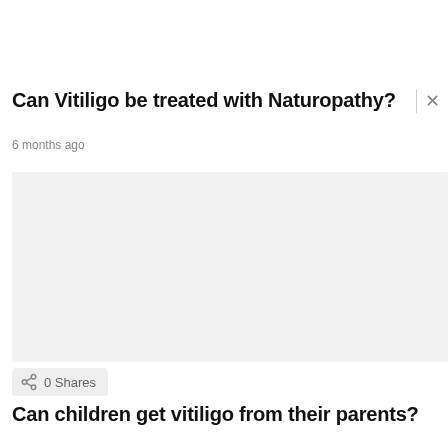Can Vitiligo be treated with Naturopathy?
6 months ago
[Figure (other): Light grey placeholder image area for article content]
0 Shares
Can children get vitiligo from their parents?